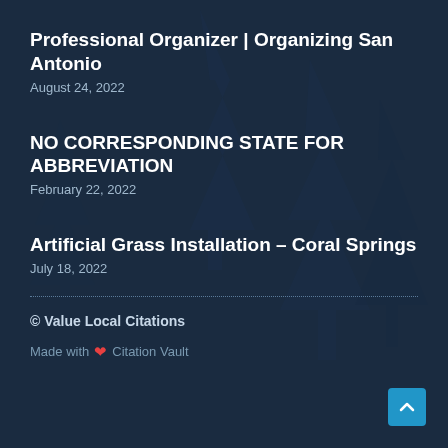Professional Organizer | Organizing San Antonio
August 24, 2022
NO CORRESPONDING STATE FOR ABBREVIATION
February 22, 2022
Artificial Grass Installation – Coral Springs
July 18, 2022
© Value Local Citations
Made with ❤ Citation Vault